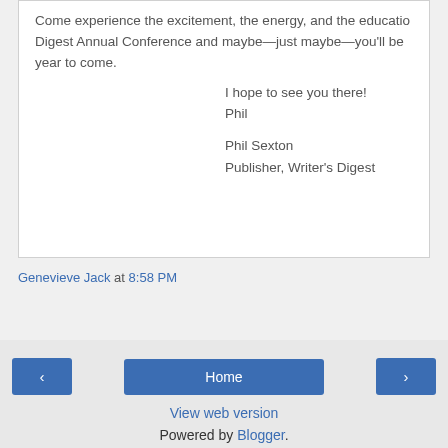Come experience the excitement, the energy, and the education at the Writer's Digest Annual Conference and maybe—just maybe—you'll be talking about it for a year to come.
I hope to see you there!
Phil
Phil Sexton
Publisher, Writer's Digest
Genevieve Jack at 8:58 PM
Share
‹
Home
›
View web version
Powered by Blogger.